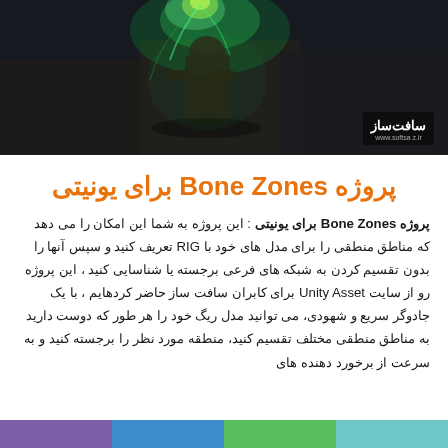[Figure (screenshot): Dark fantasy game screenshot with green magical effects, character figure, and Softساز logo watermark in bottom right]
پروژه Bone Zones برای یونیتی
پروژه Bone Zones برای یونیتی : این پروژه به شما این امکان را می دهد که مناطق منطقی را برای مدل های خود با RIG تعریف کنید و سپس آنها را بدون تقسیم کردن به شبکه های فرعی برجسته یا شناسایی کنید ، این پروژه رو از سایت Unity Asset برای کابران سافت ساز حاضر کردهایم ، با یک جادوگر سریع و شهودی، می توانید مدل ریگ خود را هر طور که دوست دارید به مناطق منطقی مختلف تقسیم کنید، منطقه مورد نظر را برجسته کنید و به سرعت از برخورد دهنده های با...